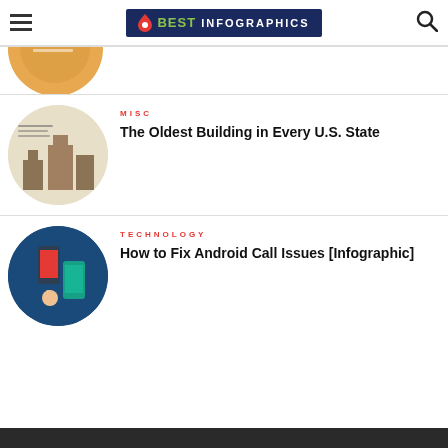BEST INFOGRAPHICS
[Figure (screenshot): Partial circular thumbnail of an orange/beige infographic (partially cropped at top)]
[Figure (screenshot): Circular thumbnail of 'The Oldest Building in Every U.S. State' infographic with beige background and architectural imagery]
MISC
The Oldest Building in Every U.S. State
[Figure (screenshot): Circular thumbnail of 'How to Fix Android Call Issues' infographic with dark blue/teal background and smartphone imagery]
TECHNOLOGY
How to Fix Android Call Issues [Infographic]